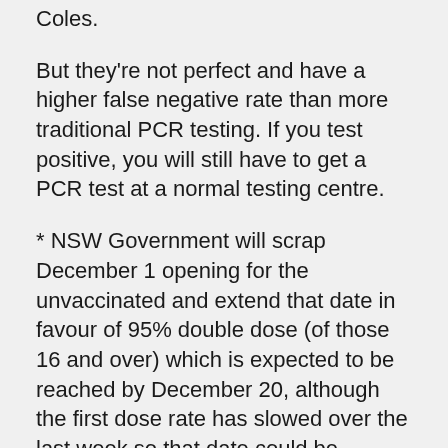Coles.
But they're not perfect and have a higher false negative rate than more traditional PCR testing. If you test positive, you will still have to get a PCR test at a normal testing centre.
* NSW Government will scrap December 1 opening for the unvaccinated and extend that date in favour of 95% double dose (of those 16 and over) which is expected to be reached by December 20, although the first dose rate has slowed over the last week so that date could be pushed back.
* 43 LGAs in NSW are now 90% fully